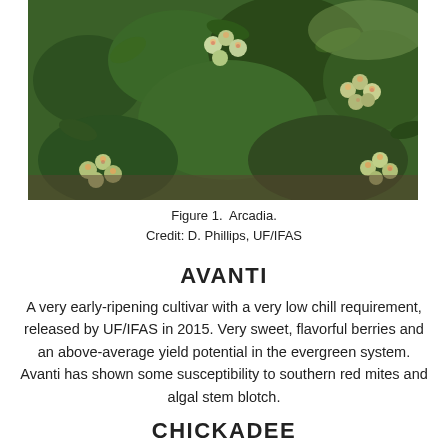[Figure (photo): Close-up photograph of a blueberry plant (Arcadia cultivar) with green berries and dark green leaves, showing clusters of unripe blueberries on branches.]
Figure 1.  Arcadia.
Credit: D. Phillips, UF/IFAS
AVANTI
A very early-ripening cultivar with a very low chill requirement, released by UF/IFAS in 2015. Very sweet, flavorful berries and an above-average yield potential in the evergreen system. Avanti has shown some susceptibility to southern red mites and algal stem blotch.
CHICKADEE